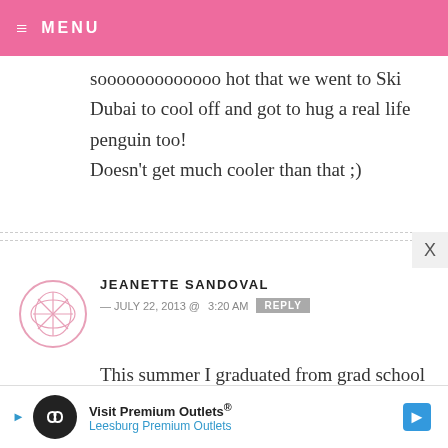≡ MENU
sooooooooooooo hot that we went to Ski Dubai to cool off and got to hug a real life penguin too!
Doesn't get much cooler than that ;)
JEANETTE SANDOVAL — JULY 22, 2013 @ 3:20 AM  REPLY
This summer I graduated from grad school and celebrated my sister's graduation from med school. It's been a great summer so far!
Visit Premium Outlets® Leesburg Premium Outlets